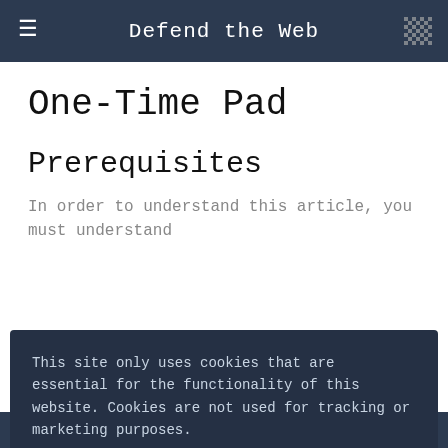Defend the Web
One-Time Pad
Prerequisites
In order to understand this article, you must understand
This site only uses cookies that are essential for the functionality of this website. Cookies are not used for tracking or marketing purposes.

By using our site, you acknowledge that you have read and understand our Privacy Policy, and Terms of Service.
[ Dismiss ]